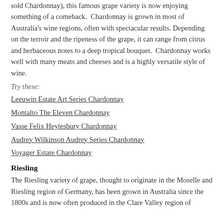sold Chardonnay), this famous grape variety is now enjoying something of a comeback. Chardonnay is grown in most of Australia's wine regions, often with spectacular results. Depending on the terroir and the ripeness of the grape, it can range from citrus and herbaceous notes to a deep tropical bouquet. Chardonnay works well with many meats and cheeses and is a highly versatile style of wine.
Try these:
Leeuwin Estate Art Series Chardonnay
Montalto The Eleven Chardonnay
Vasse Felix Heytesbury Chardonnay
Audrey Wilkinson Audrey Series Chardonnay
Voyager Estate Chardonnay
Riesling
The Riesling variety of grape, thought to originate in the Moselle and Riesling region of Germany, has been grown in Australia since the 1800s and is now often produced in the Clare Valley region of...